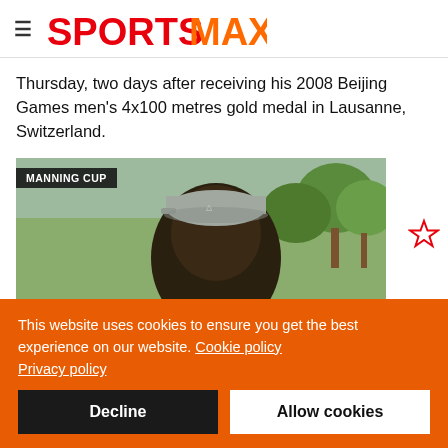SPORTSMAX
Thursday, two days after receiving his 2008 Beijing Games men's 4x100 metres gold medal in Lausanne, Switzerland.
[Figure (photo): Photo of a man wearing a cap outdoors with trees in background. Overlay label reads MANNING CUP.]
This website uses cookies to ensure you get the best experience on our website. Cookie policy
Privacy policy
Decline   Allow cookies